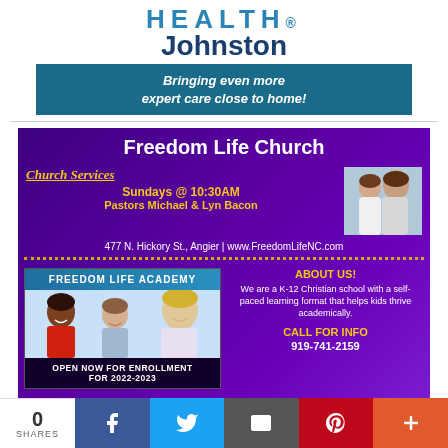[Figure (logo): HEALTH® Johnston logo with teal lettering]
[Figure (infographic): Teal banner reading: Bringing even more expert care close to home!]
[Figure (infographic): Freedom Life Church advertisement with purple background, church services info, pastors photo, Freedom Life Academy section with kids photo and enrollment info]
[Figure (infographic): Social sharing bar with 0 SHARES count, Facebook, Twitter, Email, Pinterest, and More buttons]